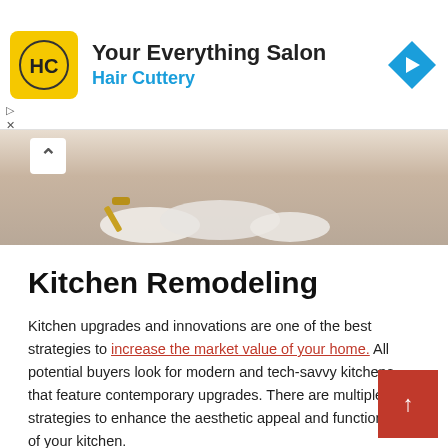[Figure (advertisement): Hair Cuttery 'Your Everything Salon' advertisement banner with yellow logo featuring HC initials, navigation arrow icon in blue diamond shape, and ad controls (play and close buttons)]
[Figure (photo): Partial photo of a kitchen remodeling scene showing painting supplies on the floor, with a chevron/up arrow overlay button]
Kitchen Remodeling
Kitchen upgrades and innovations are one of the best strategies to increase the market value of your home. All potential buyers look for modern and tech-savvy kitchens that feature contemporary upgrades. There are multiple strategies to enhance the aesthetic appeal and functionality of your kitchen.